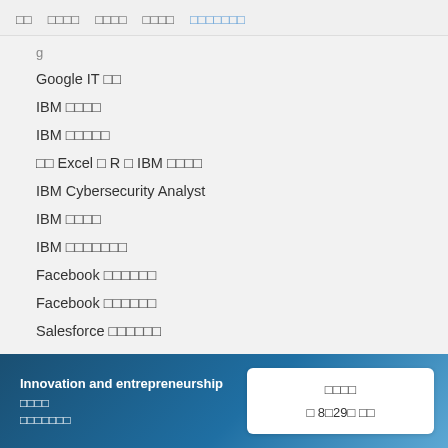□□  □□□□  □□□□  □□□□  □□□□□□□
Google IT □□
IBM □□□□
IBM □□□□□
□□ Excel □ R □ IBM □□□□
IBM Cybersecurity Analyst
IBM □□□□
IBM □□□□□□□
Facebook □□□□□□
Facebook □□□□□□
Salesforce □□□□□□
Innovation and entrepreneurship □□□□ □□□□□□□
□□□□ □ 8□29□ □□